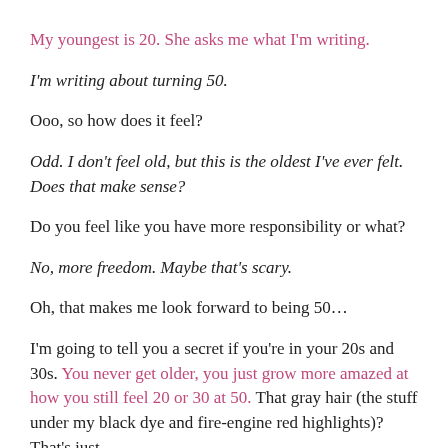My youngest is 20. She asks me what I'm writing.
I'm writing about turning 50.
Ooo, so how does it feel?
Odd. I don't feel old, but this is the oldest I've ever felt. Does that make sense?
Do you feel like you have more responsibility or what?
No, more freedom. Maybe that's scary.
Oh, that makes me look forward to being 50…
I'm going to tell you a secret if you're in your 20s and 30s. You never get older, you just grow more amazed at how you still feel 20 or 30 at 50. That gray hair (the stuff under my black dye and fire-engine red highlights)? That's just